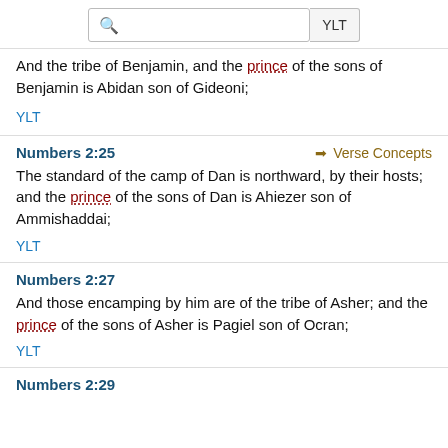YLT
And the tribe of Benjamin, and the prince of the sons of Benjamin is Abidan son of Gideoni;
YLT
Numbers 2:25
Verse Concepts
The standard of the camp of Dan is northward, by their hosts; and the prince of the sons of Dan is Ahiezer son of Ammishaddai;
YLT
Numbers 2:27
And those encamping by him are of the tribe of Asher; and the prince of the sons of Asher is Pagiel son of Ocran;
YLT
Numbers 2:29